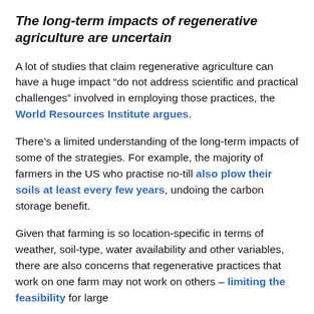The long-term impacts of regenerative agriculture are uncertain
A lot of studies that claim regenerative agriculture can have a huge impact “do not address scientific and practical challenges” involved in employing those practices, the World Resources Institute argues.
There’s a limited understanding of the long-term impacts of some of the strategies. For example, the majority of farmers in the US who practise no-till also plow their soils at least every few years, undoing the carbon storage benefit.
Given that farming is so location-specific in terms of weather, soil-type, water availability and other variables, there are also concerns that regenerative practices that work on one farm may not work on others – limiting the feasibility for large